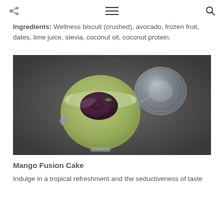Ingredients: Wellness biscuit (crushed), avocado, frozen fruit, dates, lime juice, stevia, coconut oil, coconut protein.
[Figure (photo): Overhead view of an open glass jar containing green avocado cream topped with dark berry compote and a mint leaf, on a dark slate surface. The jar lid is open to the right.]
Mango Fusion Cake
Indulge in a tropical refreshment and the seductiveness of taste